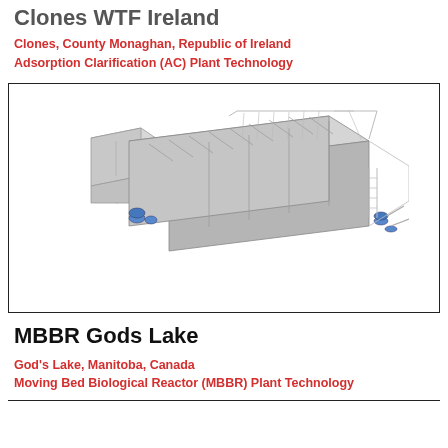Clones WTF Ireland
Clones, County Monaghan, Republic of Ireland
Adsorption Clarification (AC) Plant Technology
[Figure (engineering-diagram): 3D isometric rendering of a water treatment plant facility showing multiple rectangular concrete basins/tanks arranged in a row with walkways, railings, and mechanical equipment at both ends.]
MBBR Gods Lake
God's Lake, Manitoba, Canada
Moving Bed Biological Reactor (MBBR) Plant Technology